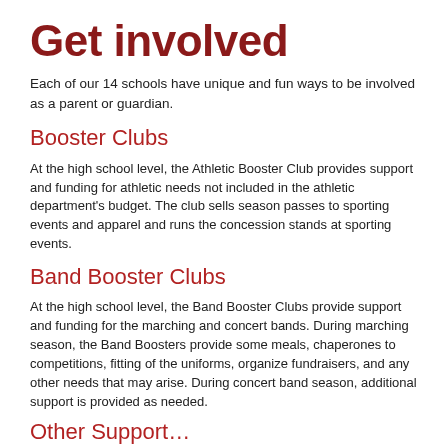Get involved
Each of our 14 schools have unique and fun ways to be involved as a parent or guardian.
Booster Clubs
At the high school level, the Athletic Booster Club provides support and funding for athletic needs not included in the athletic department's budget. The club sells season passes to sporting events and apparel and runs the concession stands at sporting events.
Band Booster Clubs
At the high school level, the Band Booster Clubs provide support and funding for the marching and concert bands. During marching season, the Band Boosters provide some meals, chaperones to competitions, fitting of the uniforms, organize fundraisers, and any other needs that may arise. During concert band season, additional support is provided as needed.
Other Support...